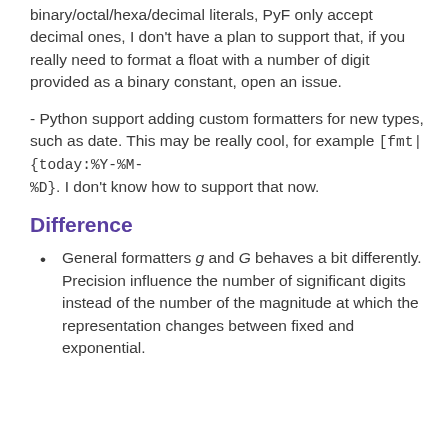binary/octal/hexa/decimal literals, PyF only accept decimal ones, I don't have a plan to support that, if you really need to format a float with a number of digit provided as a binary constant, open an issue.
- Python support adding custom formatters for new types, such as date. This may be really cool, for example [fmt|{today:%Y-%M-%D}. I don't know how to support that now.
Difference
General formatters g and G behaves a bit differently. Precision influence the number of significant digits instead of the number of the magnitude at which the representation changes between fixed and exponential.